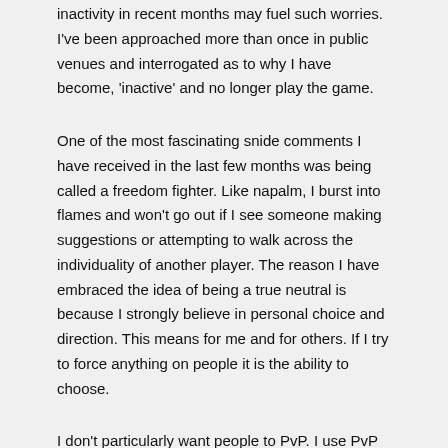inactivity in recent months may fuel such worries. I've been approached more than once in public venues and interrogated as to why I have become, 'inactive' and no longer play the game.
One of the most fascinating snide comments I have received in the last few months was being called a freedom fighter. Like napalm, I burst into flames and won't go out if I see someone making suggestions or attempting to walk across the individuality of another player. The reason I have embraced the idea of being a true neutral is because I strongly believe in personal choice and direction. This means for me and for others. If I try to force anything on people it is the ability to choose.
I don't particularly want people to PvP. I use PvP in its most basic way. To commit spaceship violence against each other. I think it is amazing that we can PvP. That is one of Eve's biggest draws to me. Knowing that people can kill me. Knowing that I can try to kill them if I want. I love that about the game. Its something I don't want to lose.
One of my wants for players is to learn how to live in dangerous space. Often there is a disagreement between those who wish for violence and those that do